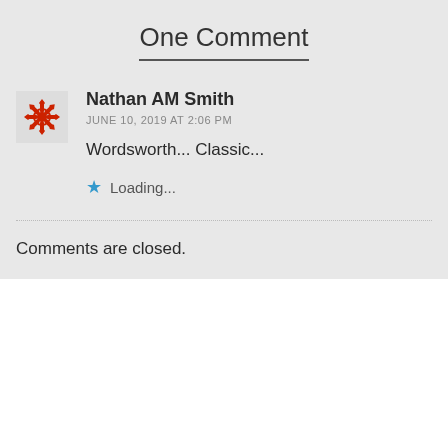One Comment
Nathan AM Smith
JUNE 10, 2019 AT 2:06 PM
Wordsworth... Classic...
★ Loading...
Comments are closed.